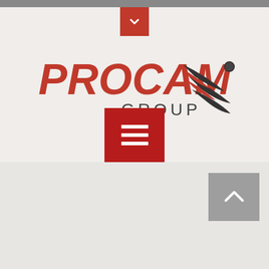[Figure (screenshot): Procam Group website screenshot showing logo, navigation chevron button, hamburger menu button, and back-to-top button]
[Figure (logo): PROCAM GROUP logo with red text and stylized speed lines graphic in red and dark grey]